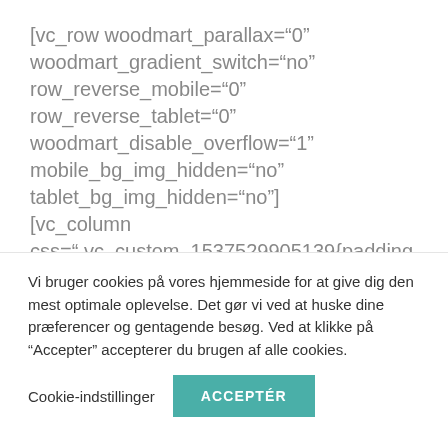[vc_row woodmart_parallax="0" woodmart_gradient_switch="no" row_reverse_mobile="0" row_reverse_tablet="0" woodmart_disable_overflow="1" mobile_bg_img_hidden="no" tablet_bg_img_hidden="no"] [vc_column css=".vc_custom_1537529905139{padding-top: 0px !important;"
Vi bruger cookies på vores hjemmeside for at give dig den mest optimale oplevelse. Det gør vi ved at huske dine præferencer og gentagende besøg. Ved at klikke på "Accepter" accepterer du brugen af alle cookies.
Cookie-indstillinger
ACCEPTÉR